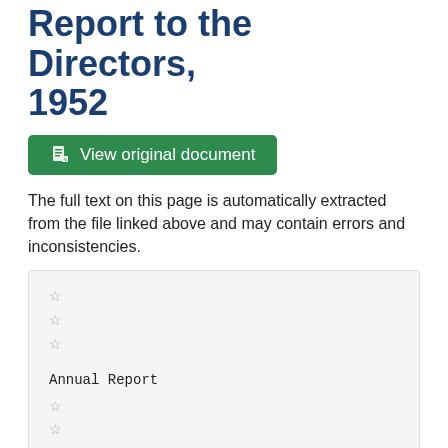Report to the Directors, 1952
[Figure (other): Green button labeled 'View original document' with a document icon]
The full text on this page is automatically extracted from the file linked above and may contain errors and inconsistencies.
☆
☆
☆

Annual Report
☆
☆

to the Directors
☆
☆